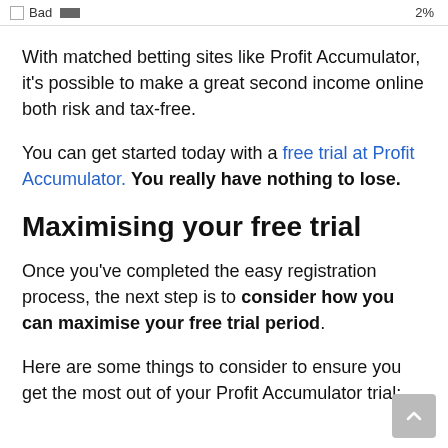Bad  2%
With matched betting sites like Profit Accumulator, it's possible to make a great second income online both risk and tax-free.
You can get started today with a free trial at Profit Accumulator. You really have nothing to lose.
Maximising your free trial
Once you've completed the easy registration process, the next step is to consider how you can maximise your free trial period.
Here are some things to consider to ensure you get the most out of your Profit Accumulator trial: